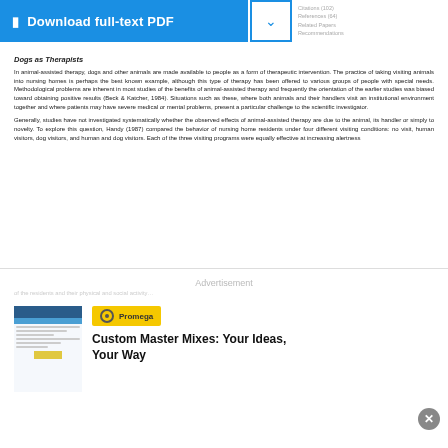[Figure (screenshot): Blue 'Download full-text PDF' button with document icon, and a dropdown chevron button with blue border]
Dogs as Therapists
In animal-assisted therapy, dogs and other animals are made available to people as a form of therapeutic intervention. The practice of taking visiting animals into nursing homes is perhaps the best known example, although this type of therapy has been offered to various groups of people with special needs. Methodological problems are inherent in most studies of the benefits of animal-assisted therapy and frequently the orientation of the earlier studies was biased toward obtaining positive results (Beck & Katcher, 1984). Situations such as these, where both animals and their handlers visit an institutional environment together and where patients may have severe medical or mental problems, present a particular challenge to the scientific investigator.
Generally, studies have not investigated systematically whether the observed effects of animal-assisted therapy are due to the animal, its handler or simply to novelty. To explore this question, Handy (1987) compared the behavior of nursing home residents under four different visiting conditions: no visit, human visitors, dog visitors, and human and dog visitors. Each of the three visiting programs were equally effective at increasing alertness
[Figure (screenshot): Advertisement area with Promega logo and 'Custom Master Mixes: Your Ideas, Your Way' heading, with a document thumbnail on the left]